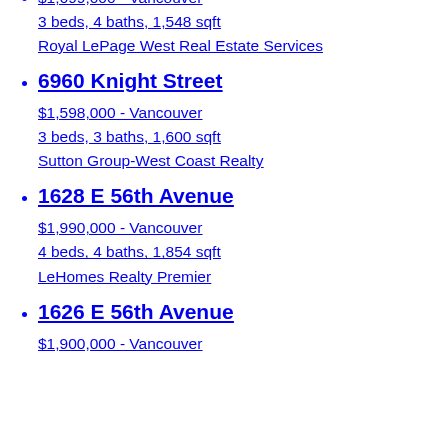$1,699,000 - Vancouver
3 beds, 4 baths, 1,548 sqft
Royal LePage West Real Estate Services
6960 Knight Street
$1,598,000 - Vancouver
3 beds, 3 baths, 1,600 sqft
Sutton Group-West Coast Realty
1628 E 56th Avenue
$1,990,000 - Vancouver
4 beds, 4 baths, 1,854 sqft
LeHomes Realty Premier
1626 E 56th Avenue
$1,900,000 - Vancouver